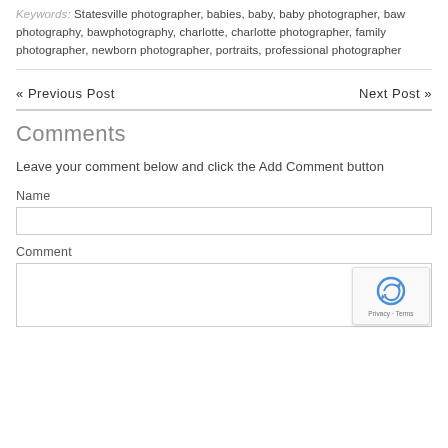Keywords: Statesville photographer, babies, baby, baby photographer, baw photography, bawphotography, charlotte, charlotte photographer, family photographer, newborn photographer, portraits, professional photographer
« Previous Post   Next Post »
Comments
Leave your comment below and click the Add Comment button
Name
Comment